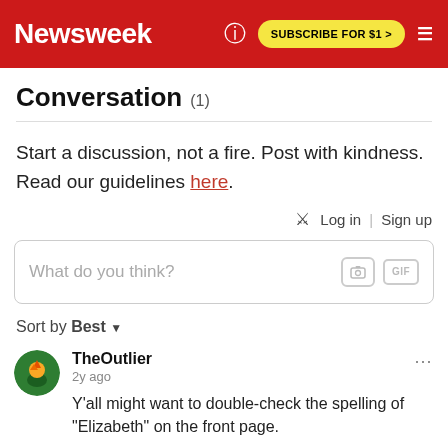Newsweek | SUBSCRIBE FOR $1 >
Conversation (1)
Start a discussion, not a fire. Post with kindness. Read our guidelines here.
Log in | Sign up
What do you think?
Sort by Best
TheOutlier
2y ago
Y'all might want to double-check the spelling of "Elizabeth" on the front page.
Reply